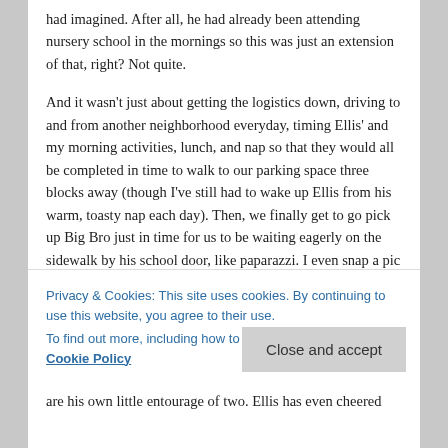had imagined. After all, he had already been attending nursery school in the mornings so this was just an extension of that, right?  Not quite.
And it wasn't just about getting the logistics down, driving to and from another neighborhood everyday, timing Ellis' and my morning activities, lunch, and nap so that they would all be completed in time to walk to our parking space three blocks away (though I've still had to wake up Ellis from his warm, toasty nap each day).   Then, we finally get to go pick up Big Bro just in time for us to be waiting eagerly on the sidewalk by his school door, like paparazzi.  I even snap a pic of him on my iPhone just to record how happy he looks after enjoying school all day,
Privacy & Cookies: This site uses cookies. By continuing to use this website, you agree to their use.
To find out more, including how to control cookies, see here: Cookie Policy
are his own little entourage of two.  Ellis has even cheered